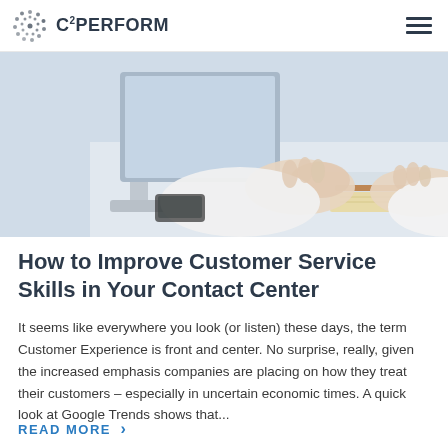C2PERFORM
[Figure (photo): Person typing on a keyboard at a desk with a notebook, viewed from the side, wearing a white shirt]
How to Improve Customer Service Skills in Your Contact Center
It seems like everywhere you look (or listen) these days, the term Customer Experience is front and center. No surprise, really, given the increased emphasis companies are placing on how they treat their customers – especially in uncertain economic times. A quick look at Google Trends shows that...
READ MORE >